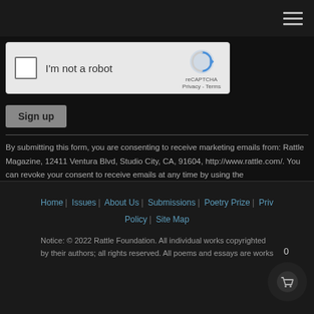[Figure (screenshot): reCAPTCHA widget with checkbox labeled 'I'm not a robot' and reCAPTCHA logo with Privacy - Terms links]
Sign up
By submitting this form, you are consenting to receive marketing emails from: Rattle Magazine, 12411 Ventura Blvd, Studio City, CA, 91604, http://www.rattle.com/. You can revoke your consent to receive emails at any time by using the SafeUnsubscribe® link, found at the bottom of every email. Emails are serviced by Constant Contact
Home | Issues | About Us | Submissions | Poetry Prize | Privacy Policy | Site Map
Notice: © 2022 Rattle Foundation. All individual works copyrighted by their authors; all rights reserved. All poems and essays are works